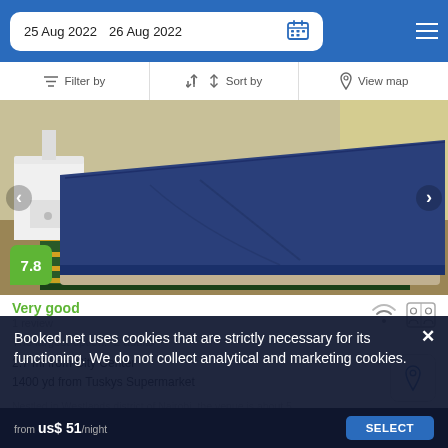25 Aug 2022  26 Aug 2022
Filter by   Sort by   View map
[Figure (photo): Hotel room photo showing a double bed with navy blue bedspread and white nightstand, with colorful striped carpet, navigation arrows on sides, and a score badge of 7.8]
Very good
1 review
The largest option:  2 adults
2.7 mi from City Center
1400 yd from Tuskys Supermarket
Nestled in Westlands district of Nairobi, the venue is about 5
Booked.net uses cookies that are strictly necessary for its functioning. We do not collect analytical and marketing cookies.
from  us$ 51/night   SELECT